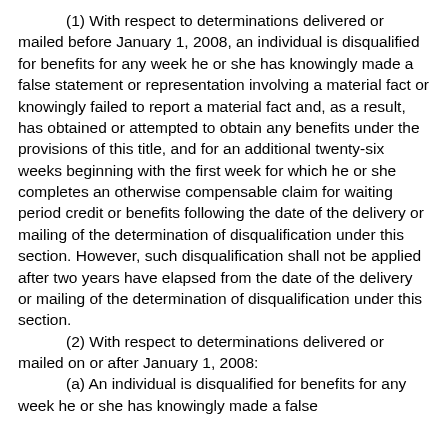(1) With respect to determinations delivered or mailed before January 1, 2008, an individual is disqualified for benefits for any week he or she has knowingly made a false statement or representation involving a material fact or knowingly failed to report a material fact and, as a result, has obtained or attempted to obtain any benefits under the provisions of this title, and for an additional twenty-six weeks beginning with the first week for which he or she completes an otherwise compensable claim for waiting period credit or benefits following the date of the delivery or mailing of the determination of disqualification under this section. However, such disqualification shall not be applied after two years have elapsed from the date of the delivery or mailing of the determination of disqualification under this section.
(2) With respect to determinations delivered or mailed on or after January 1, 2008:
(a) An individual is disqualified for benefits for any week he or she has knowingly made a false